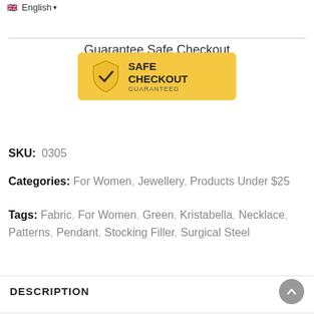Spend $100.00 to get Free Shipping  🇬🇧 English ▾
Guarantee Safe Checkout
[Figure (logo): Safe Checkout Guaranteed badge with shield and checkmark on gold/yellow background]
SKU: 0305
Categories: For Women, Jewellery, Products Under $25
Tags: Fabric, For Women, Green, Kristabella, Necklace, Patterns, Pendant, Stocking Filler, Surgical Steel
DESCRIPTION
Fabric Pendant, handmade